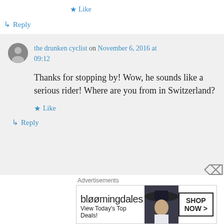★ Like
↳ Reply
the drunken cyclist on November 6, 2016 at 09:12
Thanks for stopping by! Wow, he sounds like a serious rider! Where are you from in Switzerland?
★ Like
↳ Reply
[Figure (other): Bloomingdales advertisement banner: 'bloomingdales / View Today's Top Deals!' with SHOP NOW > button and woman in wide-brim hat]
Advertisements